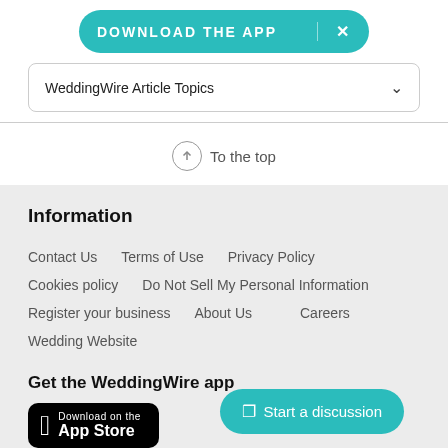[Figure (screenshot): Teal 'DOWNLOAD THE APP' button with X close icon]
WeddingWire Article Topics
To the top
Information
Contact Us
Terms of Use
Privacy Policy
Cookies policy
Do Not Sell My Personal Information
Register your business
About Us
Careers
Wedding Website
Get the WeddingWire app
[Figure (screenshot): Download on the App Store button (black, with Apple logo)]
Start a discussion